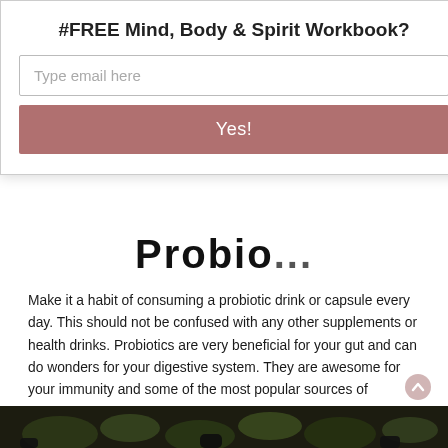[Figure (screenshot): Modal popup overlay with title '#FREE Mind, Body & Spirit Workbook?', an email input field labelled 'Type email here', a rose/mauve coloured 'Yes!' button, and a close (X) button in a circle on the right side.]
Probio...
Make it a habit of consuming a probiotic drink or capsule every day. This should not be confused with any other supplements or health drinks. Probiotics are very beneficial for your gut and can do wonders for your digestive system. They are awesome for your immunity and some of the most popular sources of probiotics include Greek yoghurt that you get in the market in various flavours. Icelandic yoghurt is also a great source of probiotics that you must include in your daily diet.
[Figure (photo): Bottom strip of a dark photo showing green plants/herbs and dark containers.]